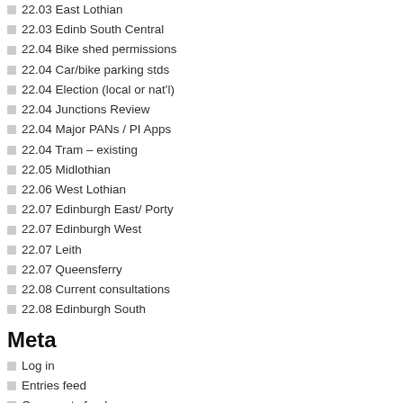22.03 East Lothian
22.03 Edinb South Central
22.04 Bike shed permissions
22.04 Car/bike parking stds
22.04 Election (local or nat'l)
22.04 Junctions Review
22.04 Major PANs / PI Apps
22.04 Tram – existing
22.05 Midlothian
22.06 West Lothian
22.07 Edinburgh East/ Porty
22.07 Edinburgh West
22.07 Leith
22.07 Queensferry
22.08 Current consultations
22.08 Edinburgh South
Meta
Log in
Entries feed
Comments feed
WordPress.org
| M | T | W | T | F | S | S |
| --- | --- | --- | --- | --- | --- | --- |
| 1 | 2 | 3 | 4 | 5 | 6 | 7 |
EnvironmentCommittee has moved th